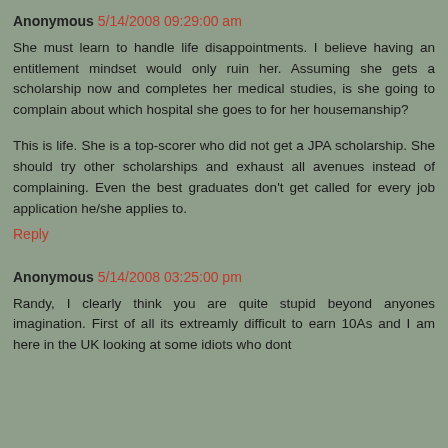Anonymous 5/14/2008 09:29:00 am
She must learn to handle life disappointments. I believe having an entitlement mindset would only ruin her. Assuming she gets a scholarship now and completes her medical studies, is she going to complain about which hospital she goes to for her housemanship?
This is life. She is a top-scorer who did not get a JPA scholarship. She should try other scholarships and exhaust all avenues instead of complaining. Even the best graduates don't get called for every job application he/she applies to.
Reply
Anonymous 5/14/2008 03:25:00 pm
Randy, I clearly think you are quite stupid beyond anyones imagination. First of all its extreamly difficult to earn 10As and I am here in the UK looking at some idiots who dont